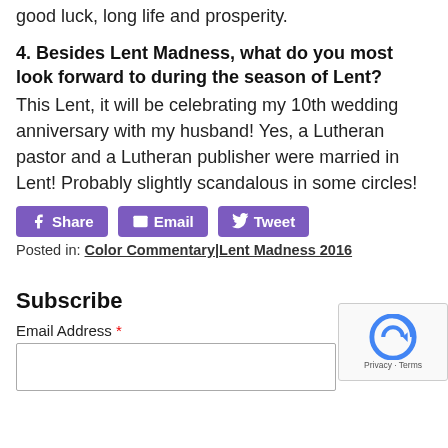good luck, long life and prosperity.
4. Besides Lent Madness, what do you most look forward to during the season of Lent?
This Lent, it will be celebrating my 10th wedding anniversary with my husband! Yes, a Lutheran pastor and a Lutheran publisher were married in Lent! Probably slightly scandalous in some circles!
Share  Email  Tweet
Posted in: Color Commentary|Lent Madness 2016
Subscribe
Email Address *